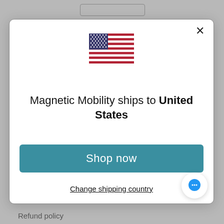[Figure (screenshot): US flag emoji displayed at top center of modal dialog]
Magnetic Mobility ships to United States
Shop in USD $
Get shipping options for United States
Shop now
Change shipping country
Refund policy